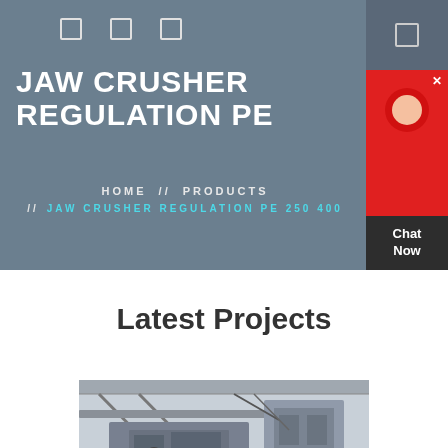JAW CRUSHER REGULATION PE 250 400
HOME // PRODUCTS // JAW CRUSHER REGULATION PE 250 400
Latest Projects
[Figure (photo): Industrial jaw crusher machinery in a factory or construction setting, showing large mechanical equipment with structural beams and industrial components.]